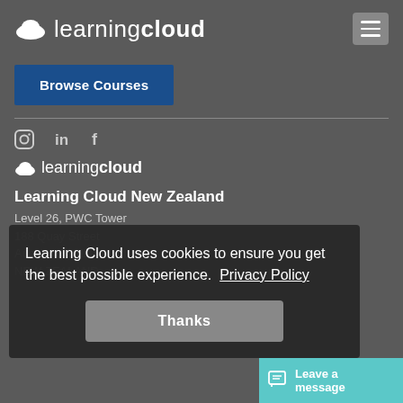[Figure (logo): Learning Cloud logo with cloud icon and text 'learningcloud' in white on dark grey background, with hamburger menu button top right]
Browse Courses
Learning Cloud New Zealand
Level 26, PWC Tower
188 Quay Street
Auckland 1010
NEW ZEALAND
Learning Cloud uses cookies to ensure you get the best possible experience.  Privacy Policy
Thanks